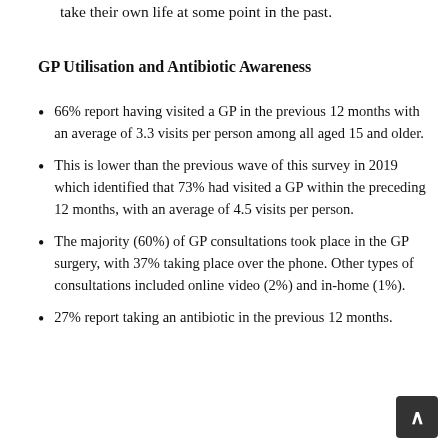take their own life at some point in the past.
GP Utilisation and Antibiotic Awareness
66% report having visited a GP in the previous 12 months with an average of 3.3 visits per person among all aged 15 and older.
This is lower than the previous wave of this survey in 2019 which identified that 73% had visited a GP within the preceding 12 months, with an average of 4.5 visits per person.
The majority (60%) of GP consultations took place in the GP surgery, with 37% taking place over the phone. Other types of consultations included online video (2%) and in-home (1%).
27% report taking an antibiotic in the previous 12 months.